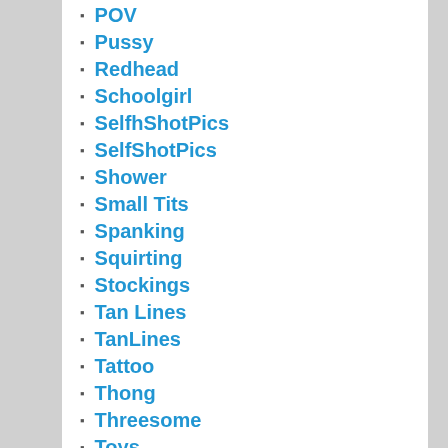POV
Pussy
Redhead
Schoolgirl
SelfhShotPics
SelfShotPics
Shower
Small Tits
Spanking
Squirting
Stockings
Tan Lines
TanLines
Tattoo
Thong
Threesome
Toys
Uncategorized
Upskirt
Video
Webcam